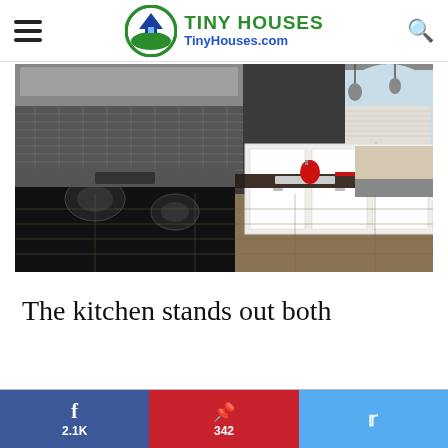TINY HOUSES TinyHouses.com
[Figure (photo): Interior photo of a modern tiny house kitchen featuring a black gas stove, stainless steel over-range microwave, mosaic tile backsplash, dark granite countertops, white cabinets, farmhouse sink, wood-look flooring, and a dining nook with windows in the background.]
The kitchen stands out both
f 2.1K | Pinterest 342 | Twitter